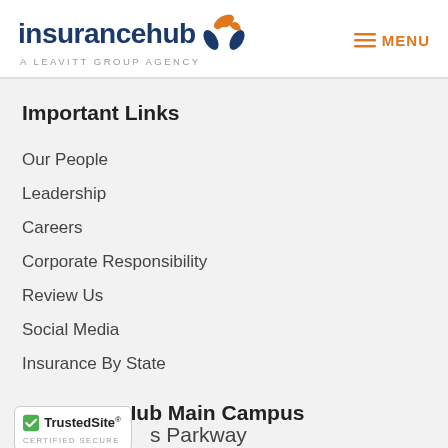[Figure (logo): InsuranceHub logo with dark blue wordmark and orange/blue icon, subtitle 'A LEAVITT GROUP AGENCY']
Important Links
Our People
Leadership
Careers
Corporate Responsibility
Review Us
Social Media
Insurance By State
InsuranceHub Main Campus
[Figure (logo): TrustedSite Certified Secure badge with green checkmark]
s Parkway